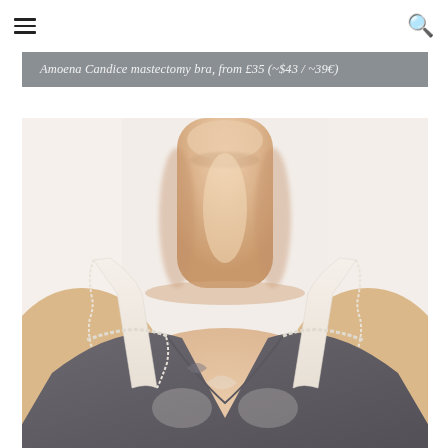☰  🔍
Amoena Candice mastectomy bra, from £35 (~$43 / ~39€)
[Figure (photo): Close-up product photo of a model wearing the Amoena Candice mastectomy bra in charcoal grey with white lace straps, showing the neckline and upper chest area]